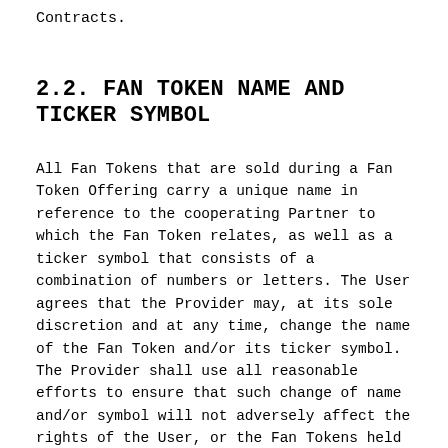Contracts.
2.2. FAN TOKEN NAME AND TICKER SYMBOL
All Fan Tokens that are sold during a Fan Token Offering carry a unique name in reference to the cooperating Partner to which the Fan Token relates, as well as a ticker symbol that consists of a combination of numbers or letters. The User agrees that the Provider may, at its sole discretion and at any time, change the name of the Fan Token and/or its ticker symbol. The Provider shall use all reasonable efforts to ensure that such change of name and/or symbol will not adversely affect the rights of the User, or the Fan Tokens held by the User.
2.3. FAN TOKEN FUNCTIONALITIES